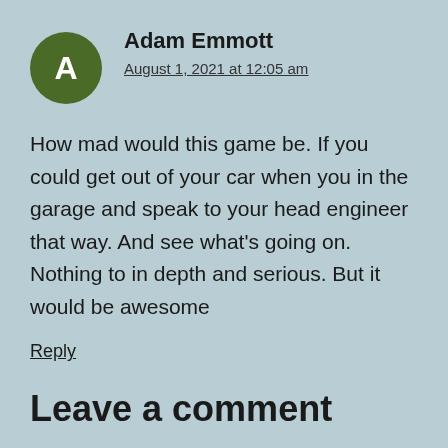[Figure (illustration): Green circle avatar with white letter A]
Adam Emmott
August 1, 2021 at 12:05 am
How mad would this game be. If you could get out of your car when you in the garage and speak to your head engineer that way. And see what's going on. Nothing to in depth and serious. But it would be awesome
Reply
Leave a comment